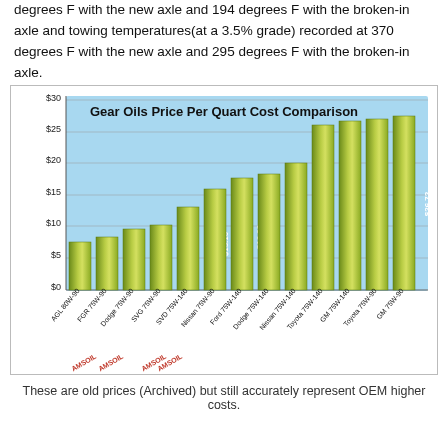degrees F with the new axle and 194 degrees F with the broken-in axle and towing temperatures(at a 3.5% grade) recorded at 370 degrees F with the new axle and 295 degrees F with the broken-in axle.
[Figure (bar-chart): Gear Oils Price Per Quart Cost Comparison]
These are old prices (Archived) but still accurately represent OEM higher costs.